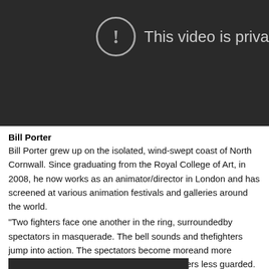[Figure (screenshot): Dark video player showing a private video error message with a circular exclamation icon and text 'This video is priva']
Bill Porter
Bill Porter grew up on the isolated, wind-swept coast of North Cornwall. Since graduating from the Royal College of Art, in 2008, he now works as an animator/director in London and has screened at various animation festivals and galleries around the world.
“Two fighters face one another in the ring, surroundedby spectators in masquerade. The bell sounds and thefighters jump into action. The spectators become moreand more frenzied as the blows get harder and thefighters less guarded. Finally they peak and, exhausted, slump into one another—a moment of peace.”
[Figure (screenshot): Dark bar at the bottom of the page, partial view of another video or black element]